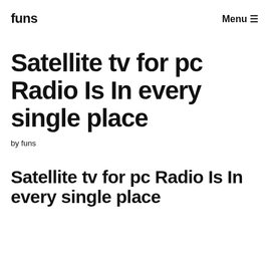funs   Menu ☰
Satellite tv for pc Radio Is In every single place
by funs
Satellite tv for pc Radio Is In every single place